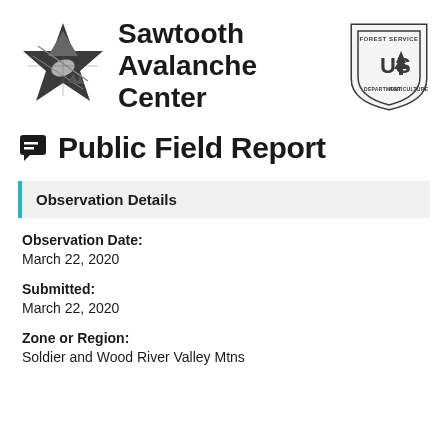[Figure (logo): Sawtooth Avalanche Center logo: star shape with ski/mountain imagery in dark gray/black]
Sawtooth Avalanche Center
[Figure (logo): USDA Forest Service shield badge logo in dark gray/black]
Public Field Report
Observation Details
Observation Date:
March 22, 2020
Submitted:
March 22, 2020
Zone or Region:
Soldier and Wood River Valley Mtns